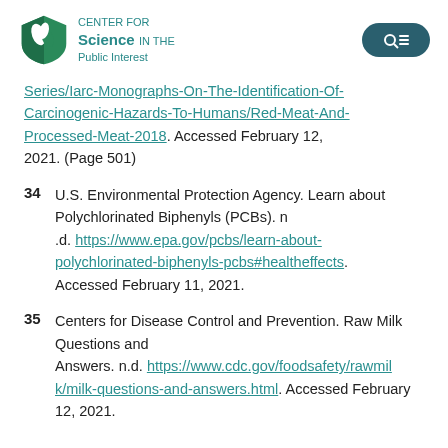[Figure (logo): Center for Science in the Public Interest logo with green shield and teal text, plus a dark teal search/menu button on the right]
Series/Iarc-Monographs-On-The-Identification-Of-Carcinogenic-Hazards-To-Humans/Red-Meat-And-Processed-Meat-2018. Accessed February 12, 2021. (Page 501)
34 U.S. Environmental Protection Agency. Learn about Polychlorinated Biphenyls (PCBs). n.d. https://www.epa.gov/pcbs/learn-about-polychlorinated-biphenyls-pcbs#healtheffects. Accessed February 11, 2021.
35 Centers for Disease Control and Prevention. Raw Milk Questions and Answers. n.d. https://www.cdc.gov/foodsafety/rawmilk/milk-questions-and-answers.html. Accessed February 12, 2021.